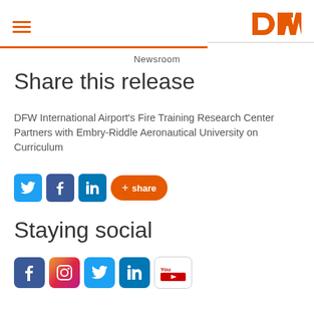DFW Newsroom
Share this release
DFW International Airport's Fire Training Research Center Partners with Embry-Riddle Aeronautical University on Curriculum
[Figure (other): Social share buttons: Twitter, Facebook, LinkedIn, and orange +share button]
Staying social
[Figure (other): Social media icons: Facebook, Instagram, Twitter, LinkedIn, YouTube]